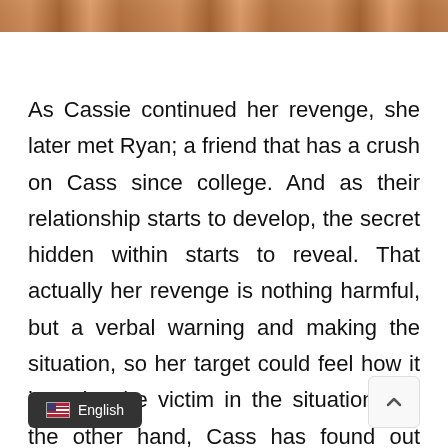[Figure (photo): Partial photo strip visible at the top of the page showing warm brownish-orange tones]
As Cassie continued her revenge, she later met Ryan; a friend that has a crush on Cass since college. And as their relationship starts to develop, the secret hidden within starts to reveal. That actually her revenge is nothing harmful, but a verbal warning and making the situation, so her target could feel how it is to be the victim in the situation. On the other hand, Cass has found out  that her to-be boyfriend Ryan and his friends were involved with her fri[ends]. So she set up a big plan to make